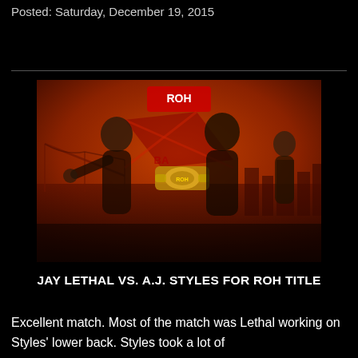Posted: Saturday, December 19, 2015
[Figure (photo): Promotional wrestling photo for ROH event featuring Jay Lethal holding championship belt and A.J. Styles with another figure in the background, against a red city skyline backdrop]
JAY LETHAL VS. A.J. STYLES FOR ROH TITLE
Excellent match. Most of the match was Lethal working on Styles' lower back. Styles took a lot of